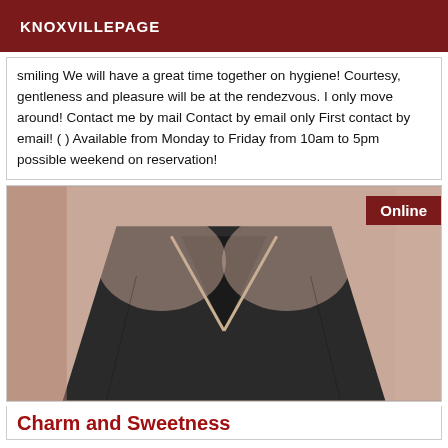KNOXVILLEPAGE
smiling We will have a great time together on hygiene! Courtesy, gentleness and pleasure will be at the rendezvous. I only move around! Contact me by mail Contact by email only First contact by email! ( ) Available from Monday to Friday from 10am to 5pm possible weekend on reservation!
[Figure (photo): Close-up photo of a woman wearing a dark low-cut top, with an 'Online' badge in the top right corner]
Charm and Sweetness